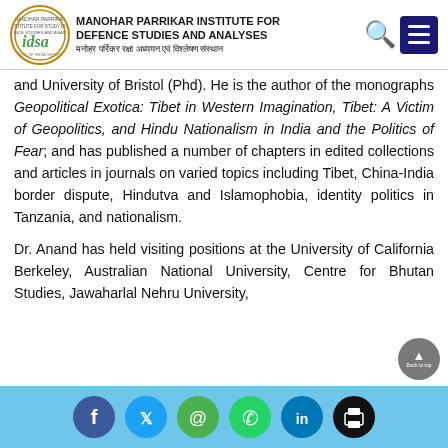MANOHAR PARRIKAR INSTITUTE FOR DEFENCE STUDIES AND ANALYSES / मनोहर पर्रिकर रक्षा अध्ययन एवं विश्लेषण संस्थान
and University of Bristol (Phd). He is the author of the monographs Geopolitical Exotica: Tibet in Western Imagination, Tibet: A Victim of Geopolitics, and Hindu Nationalism in India and the Politics of Fear; and has published a number of chapters in edited collections and articles in journals on varied topics including Tibet, China-India border dispute, Hindutva and Islamophobia, identity politics in Tanzania, and nationalism.
Dr. Anand has held visiting positions at the University of California Berkeley, Australian National University, Centre for Bhutan Studies, Jawaharlal Nehru University,
Social media icons: Facebook, Twitter, Email, WhatsApp, LinkedIn, Print